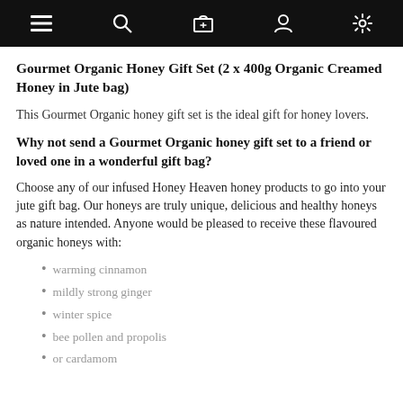[navigation bar with menu, search, cart, account, settings icons]
Gourmet Organic Honey Gift Set (2 x 400g Organic Creamed Honey in Jute bag)
This Gourmet Organic honey gift set is the ideal gift for honey lovers.
Why not send a Gourmet Organic honey gift set to a friend or loved one in a wonderful gift bag?
Choose any of our infused Honey Heaven honey products to go into your jute gift bag. Our honeys are truly unique, delicious and healthy honeys as nature intended. Anyone would be pleased to receive these flavoured organic honeys with:
warming cinnamon
mildly strong ginger
winter spice
bee pollen and propolis
or cardamom